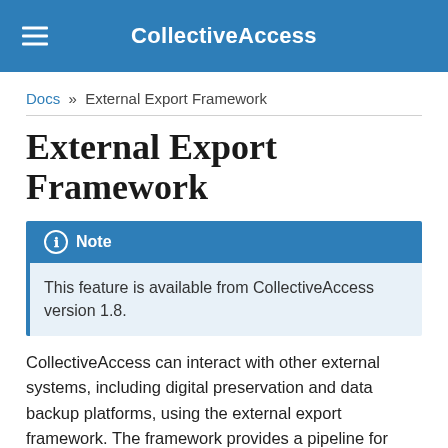CollectiveAccess
Docs » External Export Framework
External Export Framework
Note
This feature is available from CollectiveAccess version 1.8.
CollectiveAccess can interact with other external systems, including digital preservation and data backup platforms, using the external export framework. The framework provides a pipeline for assembly, packaging